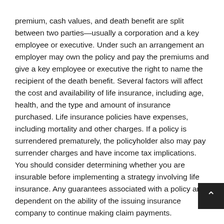premium, cash values, and death benefit are split between two parties—usually a corporation and a key employee or executive. Under such an arrangement an employer may own the policy and pay the premiums and give a key employee or executive the right to name the recipient of the death benefit. Several factors will affect the cost and availability of life insurance, including age, health, and the type and amount of insurance purchased. Life insurance policies have expenses, including mortality and other charges. If a policy is surrendered prematurely, the policyholder also may pay surrender charges and have income tax implications. You should consider determining whether you are insurable before implementing a strategy involving life insurance. Any guarantees associated with a policy are dependent on the ability of the issuing insurance company to continue making claim payments.